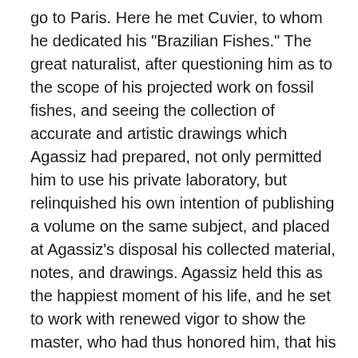go to Paris. Here he met Cuvier, to whom he dedicated his "Brazilian Fishes." The great naturalist, after questioning him as to the scope of his projected work on fossil fishes, and seeing the collection of accurate and artistic drawings which Agassiz had prepared, not only permitted him to use his private laboratory, but relinquished his own intention of publishing a volume on the same subject, and placed at Agassiz's disposal his collected material, notes, and drawings. Agassiz held this as the happiest moment of his life, and he set to work with renewed vigor to show the master, who had thus honored him, that his confidence had not been misplaced. Two or three weeks later Cuvier's sudden death added to the sacredness of this trust which had been committed to the youthful scientist. In March, 1832, his funds being exhausted, he was urged by his parents to leave Paris, and all his bright prospects might have suffered a total eclipse, had not Von Humboldt,